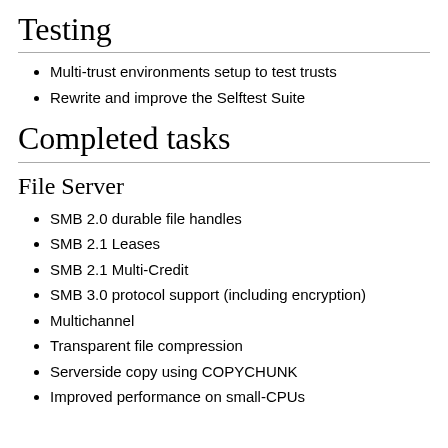Testing
Multi-trust environments setup to test trusts
Rewrite and improve the Selftest Suite
Completed tasks
File Server
SMB 2.0 durable file handles
SMB 2.1 Leases
SMB 2.1 Multi-Credit
SMB 3.0 protocol support (including encryption)
Multichannel
Transparent file compression
Serverside copy using COPYCHUNK
Improved performance on small-CPUs